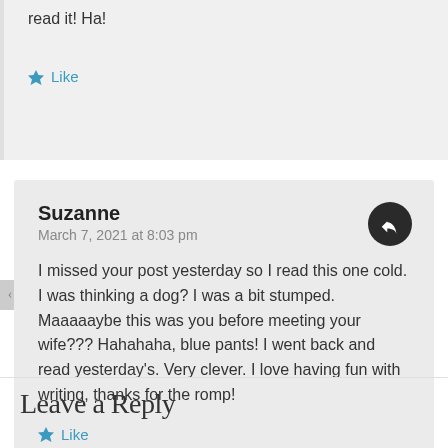read it! Ha!
Like
Suzanne
March 7, 2021 at 8:03 pm
I missed your post yesterday so I read this one cold. I was thinking a dog? I was a bit stumped. Maaaaaybe this was you before meeting your wife??? Hahahaha, blue pants! I went back and read yesterday's. Very clever. I love having fun with writing, thanks for the romp!
Like
Leave a Reply